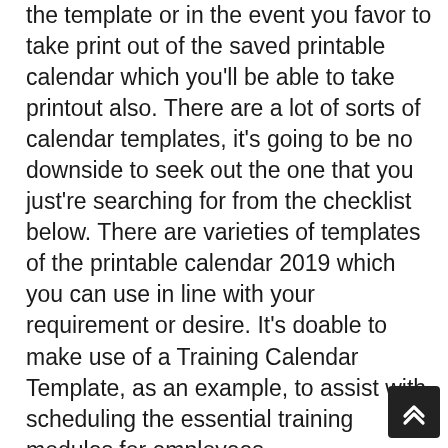the template or in the event you favor to take print out of the saved printable calendar which you'll be able to take printout also. There are a lot of sorts of calendar templates, it's going to be no downside to seek out the one that you just're searching for from the checklist below. There are varieties of templates of the printable calendar 2019 which you can use in line with your requirement or desire. It's doable to make use of a Training Calendar Template, as an example, to assist with scheduling the essential training modules for employees.
[Figure (other): Dark rounded square button with double upward chevron arrow icon (scroll-to-top button), positioned at bottom right corner.]